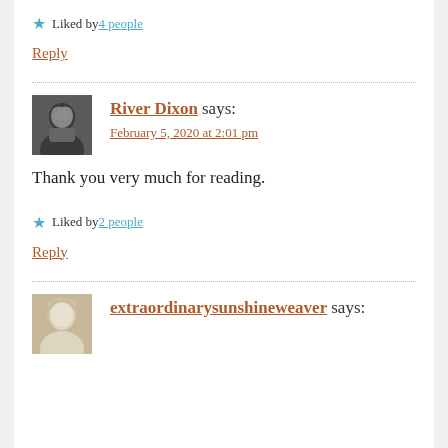Liked by 4 people
Reply
River Dixon says:
February 5, 2020 at 2:01 pm
Thank you very much for reading.
Liked by 2 people
Reply
extraordinarysunshineweaver says: